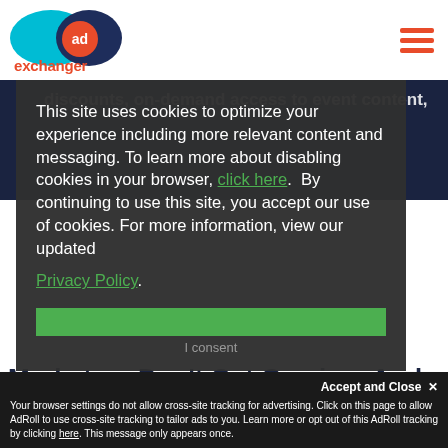AdExchanger
discounts, on-demand access to event content,
This site uses cookies to optimize your experience including more relevant content and messaging. To learn more about disabling cookies in your browser, click here. By continuing to use this site, you accept our use of cookies. For more information, view our updated Privacy Policy.
Accept and Close ×
Your browser settings do not allow cross-site tracking for advertising. Click on this page to allow AdRoll to use cross-site tracking to tailor ads to you. Learn more or opt out of this AdRoll tracking by clicking here. This message only appears once.
Marketers Don't Get Gaming, And